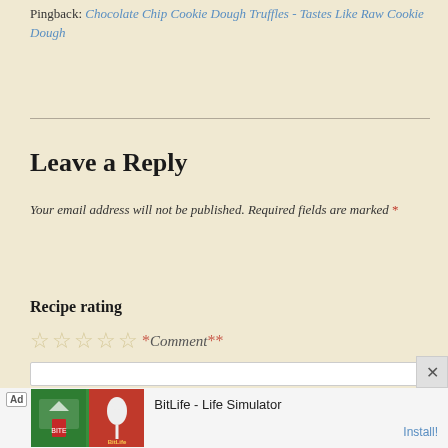Pingback: Chocolate Chip Cookie Dough Truffles - Tastes Like Raw Cookie Dough
Leave a Reply
Your email address will not be published. Required fields are marked *
Recipe rating
Comment **
[Figure (other): Comment text area input box (empty white rectangle)]
[Figure (other): Ad banner: BitLife - Life Simulator with Install button]